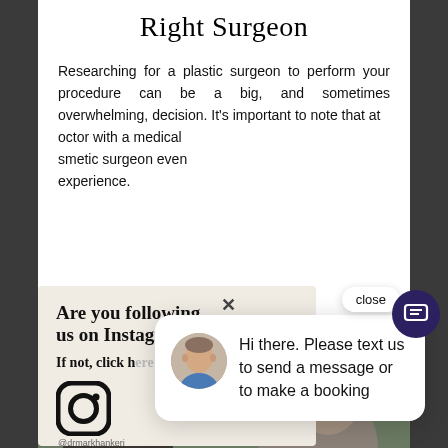Right Surgeon
Researching for a plastic surgeon to perform your procedure can be a big, and sometimes overwhelming, decision. It's important to note that at [doctor with a medical] [smetic surgeon even] [experience.]
[Figure (screenshot): Instagram follow prompt popup with text 'Are you following us on Instagram?' and 'If not, click h[ere to follow us]' with @drmarkhankeri handle and Instagram icon]
[Figure (screenshot): Chat widget popup with doctor avatar and text 'Hi there. Please text us to send a message or to make a booking' with close button]
[Figure (photo): Bottom strip showing two people in a consultation setting, partially visible]